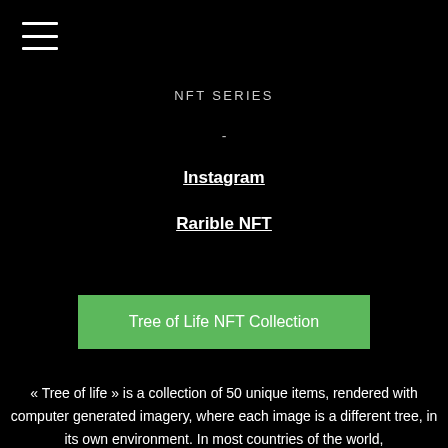[Figure (other): Hamburger menu icon (three horizontal lines)]
NFT SERIES
-
Instagram
Rarible NFT
Tree of Life NFT Collection
« Tree of life » is a collection of 50 unique items, rendered with computer generated imagery, where each image is a different tree, in its own environment. In most countries of the world,